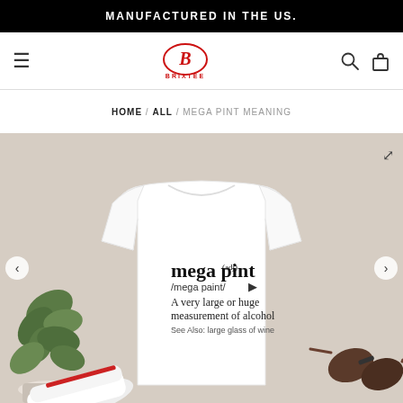MANUFACTURED IN THE US.
[Figure (logo): Brixtee brand logo with stylized B in oval and BRIXTEE text below]
HOME / ALL / MEGA PINT MEANING
[Figure (photo): White t-shirt on beige background with dictionary-style text: mega pint (adj) /mega paint/ - A very large or huge measurement of alcohol. See Also: large glass of wine. Props include shoes, a plant, and sunglasses.]